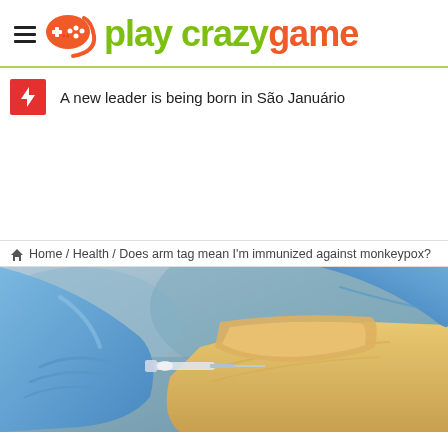play crazy game
A new leader is being born in São Januário
Home / Health / Does arm tag mean I'm immunized against monkeypox?
[Figure (photo): Close-up photo of a medical professional in blue latex gloves administering a vaccine injection into a patient's arm]